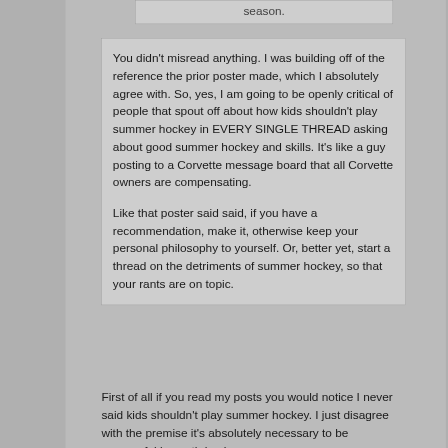season.
You didn't misread anything. I was building off of the reference the prior poster made, which I absolutely agree with. So, yes, I am going to be openly critical of people that spout off about how kids shouldn't play summer hockey in EVERY SINGLE THREAD asking about good summer hockey and skills. It's like a guy posting to a Corvette message board that all Corvette owners are compensating.

Like that poster said said, if you have a recommendation, make it, otherwise keep your personal philosophy to yourself. Or, better yet, start a thread on the detriments of summer hockey, so that your rants are on topic.
First of all if you read my posts you would notice I never said kids shouldn't play summer hockey. I just disagree with the premise it's absolutely necessary to be successful in youth hockey.